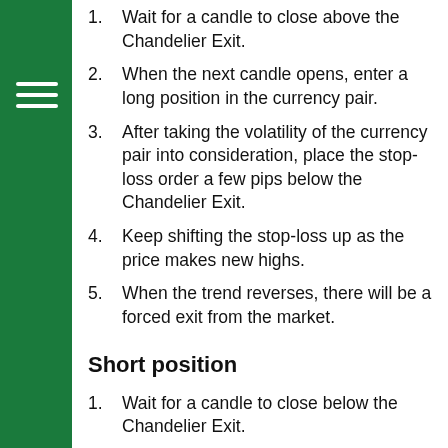1. Wait for a candle to close above the Chandelier Exit.
2. When the next candle opens, enter a long position in the currency pair.
3. After taking the volatility of the currency pair into consideration, place the stop-loss order a few pips below the Chandelier Exit.
4. Keep shifting the stop-loss up as the price makes new highs.
5. When the trend reverses, there will be a forced exit from the market.
Short position
1. Wait for a candle to close below the Chandelier Exit.
2. When the next candle opens, take a short position in the currency pair.
3. With the next candle opens, take a short position in the currency pair.